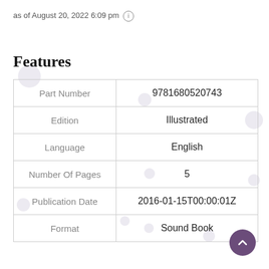as of August 20, 2022 6:09 pm ℹ
Features
| Part Number | 9781680520743 |
| Edition | Illustrated |
| Language | English |
| Number Of Pages | 5 |
| Publication Date | 2016-01-15T00:00:01Z |
| Format | Sound Book |